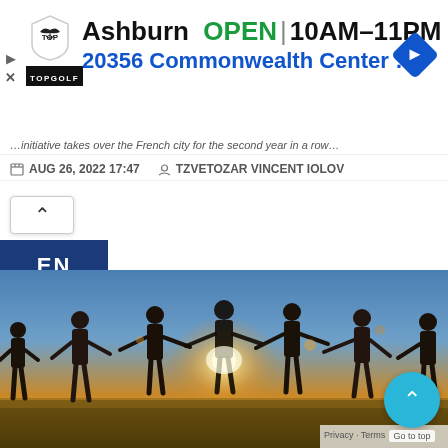[Figure (screenshot): Topgolf advertisement banner showing Ashburn location, OPEN status, hours 10AM-11PM, address 20356 Commonwealth Center ..., with navigation arrow diamond icon]
...initiative takes over the French city for the second year in a row...
AUG 26, 2022 17:47   TZVETOZAR VINCENT IOLOV
[Figure (screenshot): Back navigation button with up chevron (^)]
[Figure (screenshot): EN language tab button in dark blue]
[Figure (photo): Group of people holding hands in a circle at sunset outdoors on a field]
Go to top